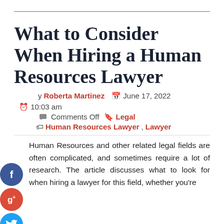What to Consider When Hiring a Human Resources Lawyer
by Roberta Martinez  June 17, 2022  10:03 am  Comments Off  Legal  Human Resources Lawyer, Lawyer
Human Resources and other related legal fields are often complicated, and sometimes require a lot of research. The article discusses what to look for when hiring a lawyer for this field, whether you're